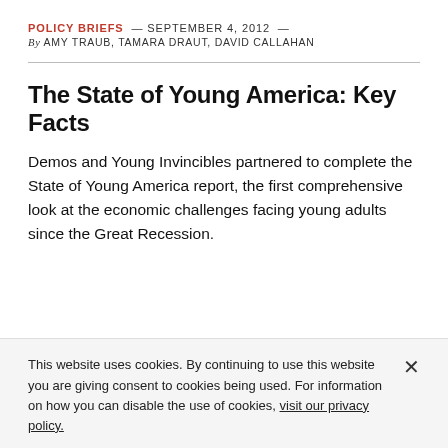POLICY BRIEFS — SEPTEMBER 4, 2012 — By AMY TRAUB, TAMARA DRAUT, DAVID CALLAHAN
The State of Young America: Key Facts
Demos and Young Invincibles partnered to complete the State of Young America report, the first comprehensive look at the economic challenges facing young adults since the Great Recession.
This website uses cookies. By continuing to use this website you are giving consent to cookies being used. For information on how you can disable the use of cookies, visit our privacy policy.